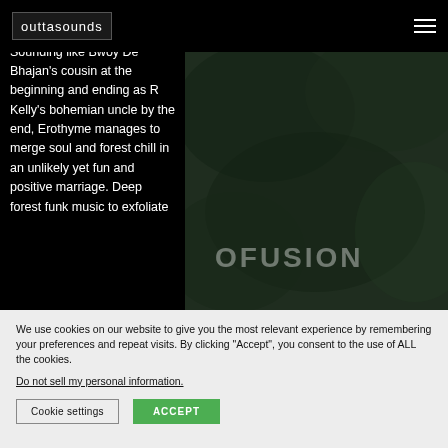[Figure (logo): Outtasounds logo in a bordered box, white text on dark background]
invigorating and calming type.
Sounding like Bwoy De Bhajan's cousin at the beginning and ending as R Kelly's bohemian uncle by the end, Erothyme manages to merge soul and forest chill in an unlikely yet fun and positive marriage. Deep forest funk music to exfoliate
[Figure (photo): Dark green forest/nature blurred background with partially visible text 'OFUSION' or similar in semi-transparent white letters]
We use cookies on our website to give you the most relevant experience by remembering your preferences and repeat visits. By clicking "Accept", you consent to the use of ALL the cookies.
Do not sell my personal information.
Cookie settings
ACCEPT